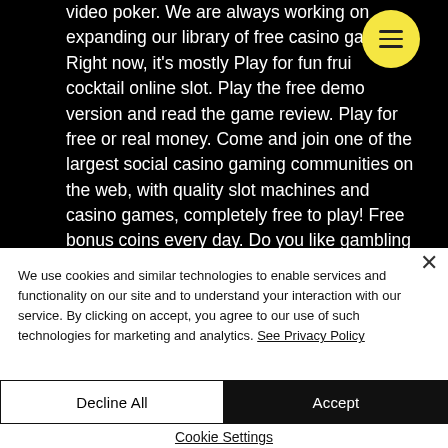video poker. We are always working on expanding our library of free casino games. Right now, it's mostly Play for fun fruit cocktail online slot. Play the free demo version and read the game review. Play for free or real money. Come and join one of the largest social casino gaming communities on the web, with quality slot machines and casino games, completely free to play! Free bonus coins every day. Do you like gambling games? then we recommend trying our free
We use cookies and similar technologies to enable services and functionality on our site and to understand your interaction with our service. By clicking on accept, you agree to our use of such technologies for marketing and analytics. See Privacy Policy
Decline All
Accept
Cookie Settings